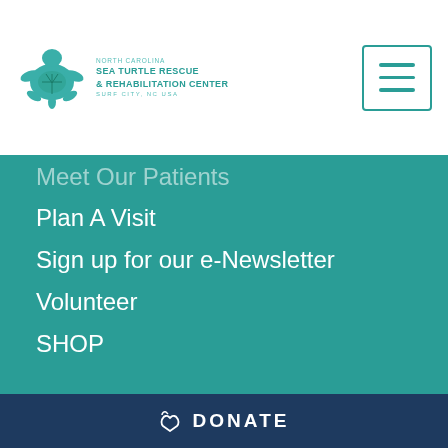North Carolina Sea Turtle Rescue & Rehabilitation Center, Surf City, NC USA
Meet Our Patients
Plan A Visit
Sign up for our e-Newsletter
Volunteer
SHOP
Visiting Hours
THE TURTLES WELCOME YOU BACK!
CLICK HERE FOR INFORMATION.
ADMISSION
DONATE